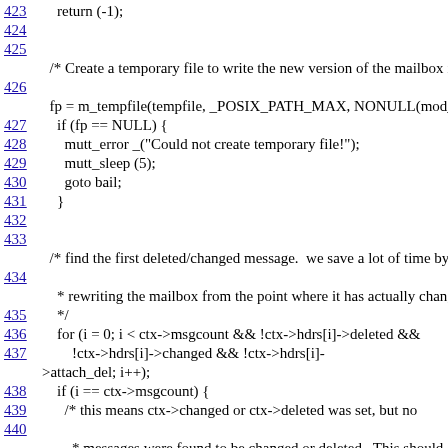423    return (-1);
424
425
/* Create a temporary file to write the new version of the mailbox in
426
fp = m_tempfile(tempfile, _POSIX_PATH_MAX, NONULL(mod_
427    if (fp == NULL) {
428      mutt_error _("Could not create temporary file!");
429      mutt_sleep (5);
430      goto bail;
431    }
432
433
/* find the first deleted/changed message.  we save a lot of time by d
434
* rewriting the mailbox from the point where it has actually changed
435    */
436    for (i = 0; i < ctx->msgcount && !ctx->hdrs[i]->deleted &&
437        !ctx->hdrs[i]->changed && !ctx->hdrs[i]->attach_del; i++);
438    if (i == ctx->msgcount) {
439      /* this means ctx->changed or ctx->deleted was set, but no
440
* messages were found to be changed or deleted.  This should
441       * never happen, is we presume it is a bug in mutt.